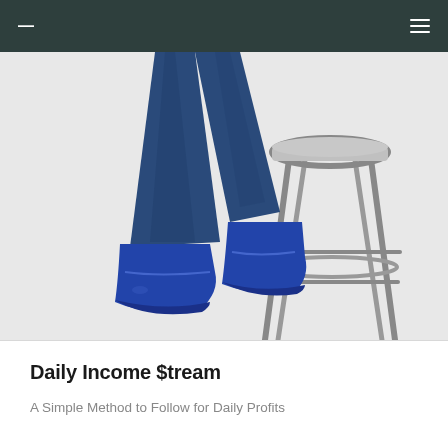— ≡
[Figure (photo): Person's lower body wearing blue jeans and blue sneakers, sitting on a metal barstool against a white background. Only the legs and feet are visible along with the stool.]
Daily Income $tream
A Simple Method to Follow for Daily Profits